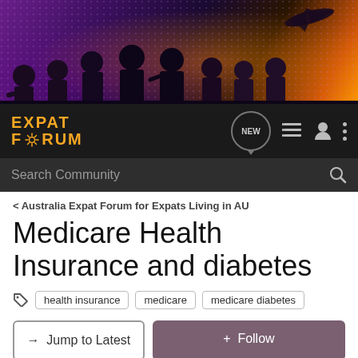[Figure (illustration): Banner image showing silhouettes of business people against a purple/orange glowing background with a city skyline and airplane]
[Figure (logo): Expat Forum logo in gold/yellow text with gear icon on dark background, plus navigation icons including NEW button, list icon, user icon, and menu dots]
Search Community
< Australia Expat Forum for Expats Living in AU
Medicare Health Insurance and diabetes
health insurance
medicare
medicare diabetes
→ Jump to Latest
+ Follow
1 - 3 of 3 Posts